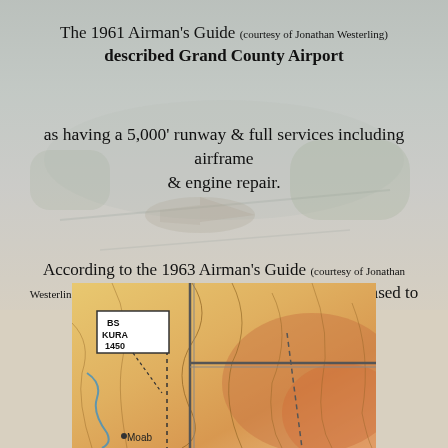[Figure (photo): Faded background photograph of what appears to be an airfield or aviation scene, used as a watermark-style background image across the upper portion of the page.]
The 1961 Airman's Guide (courtesy of Jonathan Westerling) described Grand County Airport
as having a 5,000' runway & full services including airframe & engine repair.
According to the 1963 Airman's Guide (courtesy of Jonathan Westerling), the runway length had been slightly increased to 5,200'.
[Figure (map): Aeronautical or topographic map excerpt showing terrain contours and a label reading 'BS KURA 1450' in a box, with 'Moab' visible at the bottom. Roads and geographic features shown on a tan/orange background.]